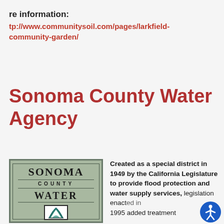re information: tp://www.communitysoil.com/pages/larkfield-community-garden/
Sonoma County Water Agency
[Figure (logo): Sonoma County Water Agency logo — green square with text SONOMA COUNTY WATER and a teal wave/leaf icon below]
Created as a special district in 1949 by the California Legislature to provide flood protection and water supply services, legislation enacted in 1995 added treatment